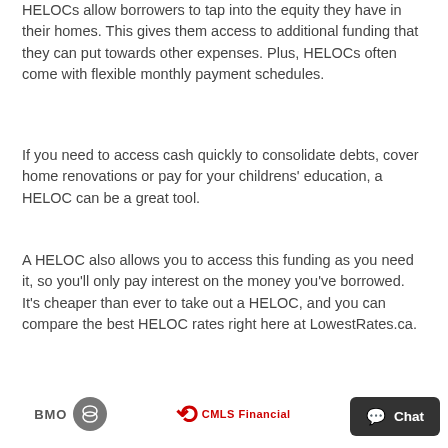HELOCs allow borrowers to tap into the equity they have in their homes. This gives them access to additional funding that they can put towards other expenses. Plus, HELOCs often come with flexible monthly payment schedules.
If you need to access cash quickly to consolidate debts, cover home renovations or pay for your childrens' education, a HELOC can be a great tool.
A HELOC also allows you to access this funding as you need it, so you'll only pay interest on the money you've borrowed. It's cheaper than ever to take out a HELOC, and you can compare the best HELOC rates right here at LowestRates.ca.
Get started by selecting a product from our rate chart above.
[Figure (logo): Logos of BMO, CMLS Financial, and First National Financial LP shown at the bottom of the page, along with a Chat button overlay.]